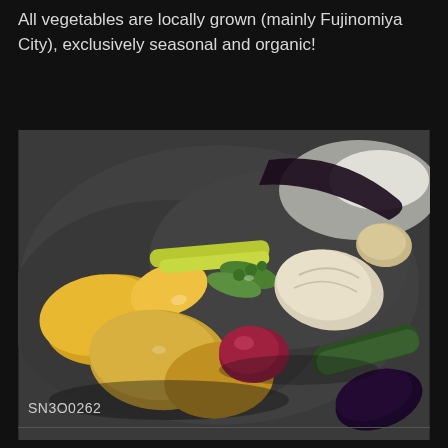All vegetables are locally grown (mainly Fujinomiya City), exclusively seasonal and organic!
[Figure (photo): A plate of roasted seasonal vegetables on a dark stone surface, including squash, asparagus, snow peas, potatoes, onion, eggplant, and other colorful vegetables.]
SN3O0262